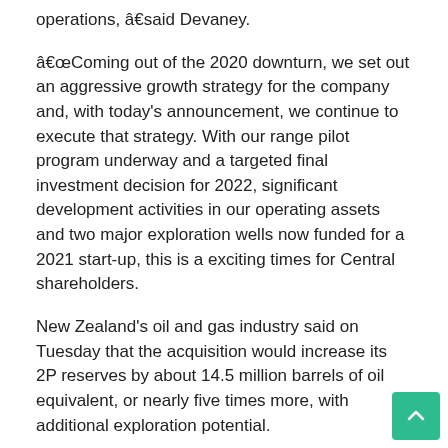operations, â€said Devaney.
“Coming out of the 2020 downturn, we set out an aggressive growth strategy for the company and, with today’s announcement, we continue to execute that strategy. With our range pilot program underway and a targeted final investment decision for 2022, significant development activities in our operating assets and two major exploration wells now funded for a 2021 start-up, this is a exciting times for Central shareholders.
New Zealand’s oil and gas industry said on Tuesday that the acquisition would increase its 2P reserves by about 14.5 million barrels of oil equivalent, or nearly five times more, with additional exploration potential.
The company’s board of directors urged shareholders to approve the transaction.
The transaction is also subject to the consent of the central